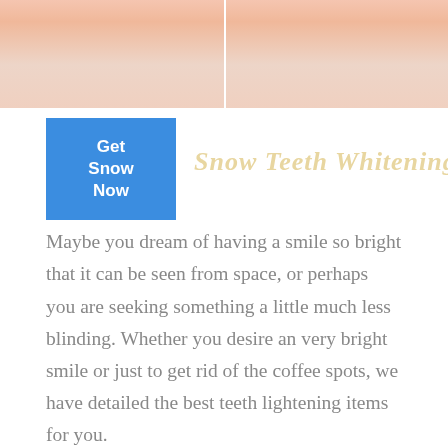[Figure (photo): Before and after photo comparison of teeth whitening, split vertically by a white divider line, showing close-up of a person's lower face/lips area]
Snow Teeth Whitening
Maybe you dream of having a smile so bright that it can be seen from space, or perhaps you are seeking something a little much less blinding. Whether you desire an very bright smile or just to get rid of the coffee spots, we have detailed the best teeth lightening items for you.
.
The fact is, we only get one set of teeth to last us throughout our lives. Dealing with them, and also